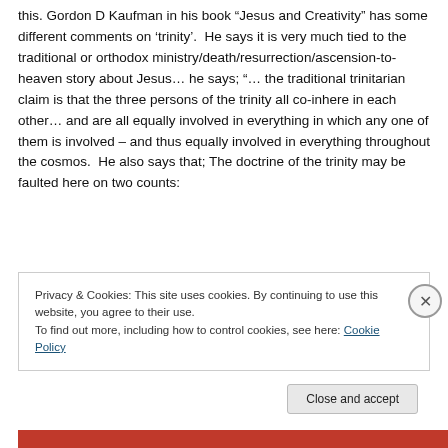this. Gordon D Kaufman in his book “Jesus and Creativity” has some different comments on ‘trinity’.  He says it is very much tied to the traditional or orthodox ministry/death/resurrection/ascension-to-heaven story about Jesus… he says; “… the traditional trinitarian claim is that the three persons of the trinity all co-inhere in each other… and are all equally involved in everything in which any one of them is involved – and thus equally involved in everything throughout the cosmos.  He also says that; The doctrine of the trinity may be faulted here on two counts:
Privacy & Cookies: This site uses cookies. By continuing to use this website, you agree to their use.
To find out more, including how to control cookies, see here: Cookie Policy